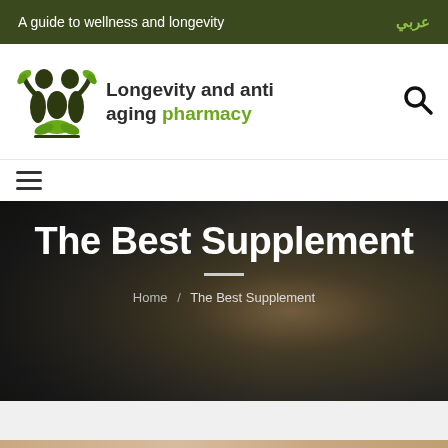A guide to wellness and longevity | عربي
[Figure (logo): Longevity and anti aging pharmacy logo with two human figures and green leaves]
Longevity and anti aging pharmacy
The Best Supplement
Home / The Best Supplement